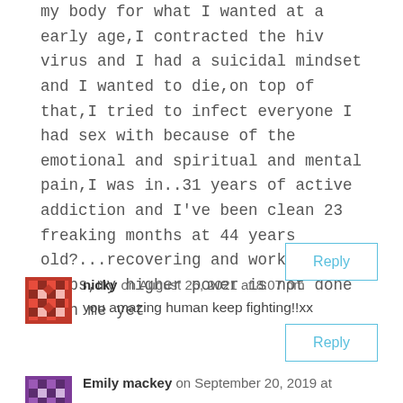my body for what I wanted at a early age,I contracted the hiv virus and I had a suicidal mindset and I wanted to die,on top of that,I tried to infect everyone I had sex with because of the emotional and spiritual and mental pain,I was in..31 years of active addiction and I've been clean 23 freaking months at 44 years old?...recovering and working the steps,my higher power is not done with me yet
Reply
nicky on August 26, 2021 at 8:07 pm
you amazing human keep fighting!!xx
Reply
Emily mackey on September 20, 2019 at